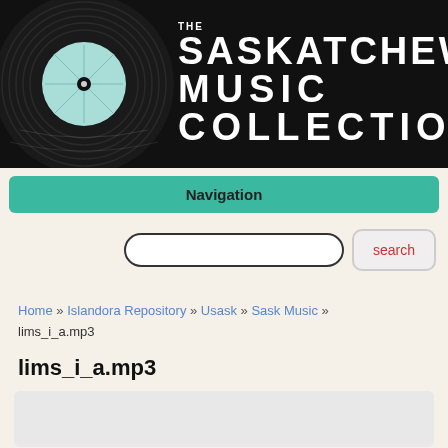[Figure (logo): The Saskatchewan Music Collection logo with a vinyl record on the left and bold white text on black background reading THE SASKATCHEWAN MUSIC COLLECTION]
Navigation
[Figure (screenshot): Search bar with text input field and a search button]
Home » Islandora Repository » Usask » Sask Music » lims_i_a.mp3
lims_i_a.mp3